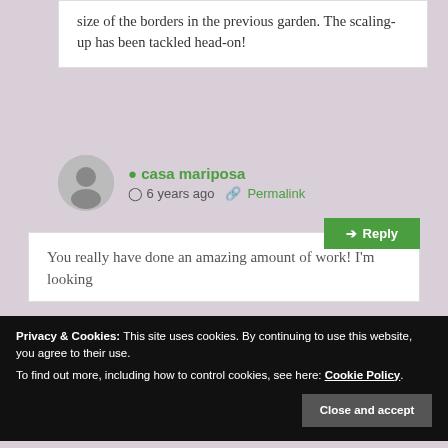size of the borders in the previous garden. The scaling-up has been tackled head-on!
Reply
casa mariposa
6 years ago  Permalink
You really have done an amazing amount of work! I'm looking
Privacy & Cookies: This site uses cookies. By continuing to use this website, you agree to their use.
To find out more, including how to control cookies, see here: Cookie Policy
Close and accept
in the moist soil